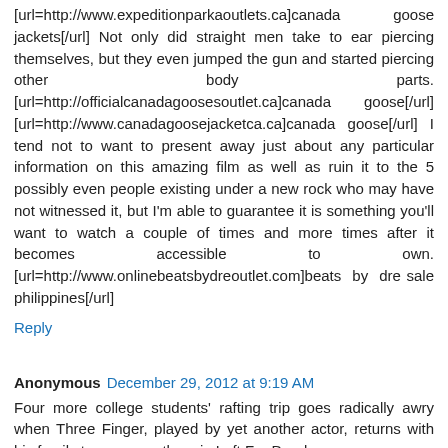[url=http://www.expeditionparkaoutlets.ca]canada goose jackets[/url] Not only did straight men take to ear piercing themselves, but they even jumped the gun and started piercing other body parts. [url=http://officialcanadagoosesoutlet.ca]canada goose[/url] [url=http://www.canadagoosejacketca.ca]canada goose[/url] I tend not to want to present away just about any particular information on this amazing film as well as ruin it to the 5 possibly even people existing under a new rock who may have not witnessed it, but I'm able to guarantee it is something you'll want to watch a couple of times and more times after it becomes accessible to own. [url=http://www.onlinebeatsbydreoutlet.com]beats by dre sale philippines[/url]
Reply
Anonymous December 29, 2012 at 9:19 AM
Four more college students' rafting trip goes radically awry when Three Finger, played by yet another actor, returns with his family to consume them in Left For Dead.